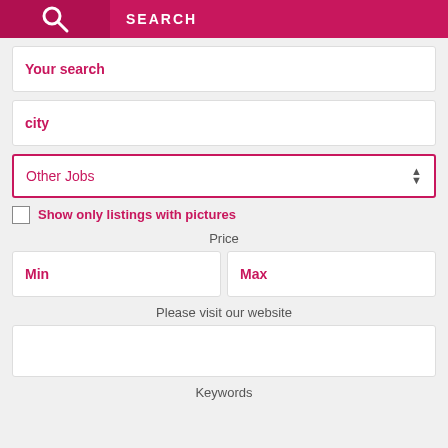SEARCH
Your search
city
Other Jobs
Show only listings with pictures
Price
Min
Max
Please visit our website
Keywords